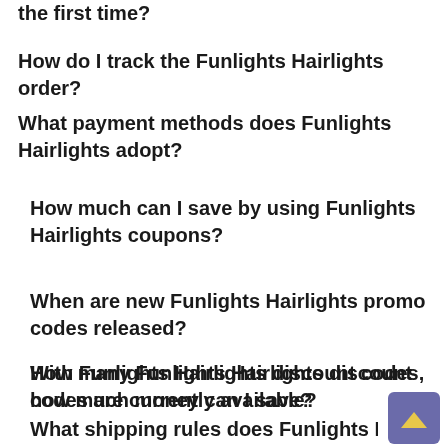the first time?
How do I track the Funlights Hairlights order?
What payment methods does Funlights Hairlights adopt?
How much can I save by using Funlights Hairlights coupons?
When are new Funlights Hairlights promo codes released?
How many Funlights Hairlights discount codes are currently available?
With Funlights Hairlights discount codes, how much money can I save?
What shipping rules does Funlights Hairlights have?